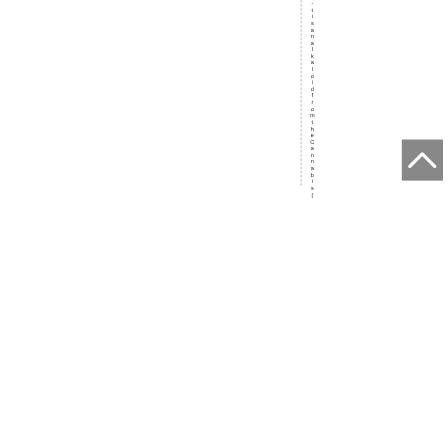- t i s a n a l k a l o i d f r o m t h e C a n n a b i s [
[Figure (other): Dashed vertical line separator]
[Figure (other): Back to top navigation button with upward chevron arrow]